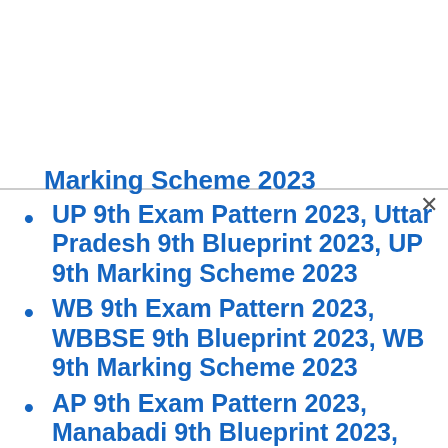Marking Scheme 2023
UP 9th Exam Pattern 2023, Uttar Pradesh 9th Blueprint 2023, UP 9th Marking Scheme 2023
WB 9th Exam Pattern 2023, WBBSE 9th Blueprint 2023, WB 9th Marking Scheme 2023
AP 9th Exam Pattern 2023, Manabadi 9th Blueprint 2023, AP 9th